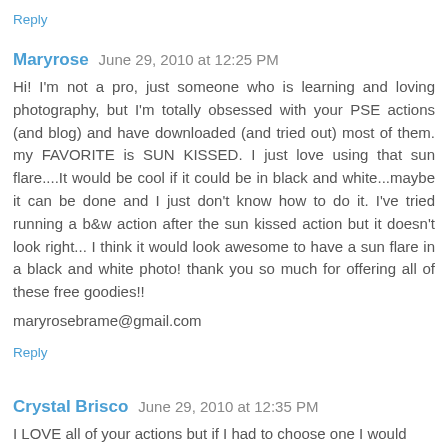Reply
Maryrose  June 29, 2010 at 12:25 PM
Hi! I'm not a pro, just someone who is learning and loving photography, but I'm totally obsessed with your PSE actions (and blog) and have downloaded (and tried out) most of them. my FAVORITE is SUN KISSED. I just love using that sun flare....It would be cool if it could be in black and white...maybe it can be done and I just don't know how to do it. I've tried running a b&w action after the sun kissed action but it doesn't look right... I think it would look awesome to have a sun flare in a black and white photo! thank you so much for offering all of these free goodies!!
maryrosebrame@gmail.com
Reply
Crystal Brisco  June 29, 2010 at 12:35 PM
I LOVE all of your actions but if I had to choose one I would